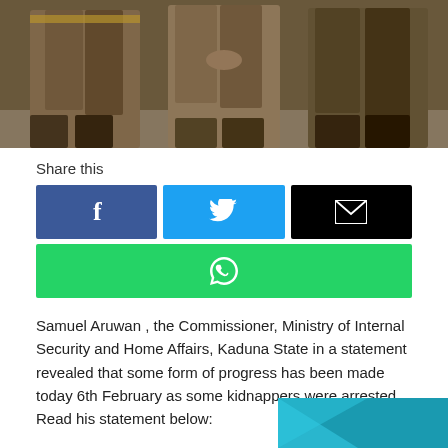[Figure (photo): Three people standing side by side, lower bodies visible, wearing dirty/muddy clothing and boots]
Share this
[Figure (infographic): Social media share buttons: Facebook (blue), Twitter (light blue), Email (black), WhatsApp (green)]
Samuel Aruwan , the Commissioner, Ministry of Internal Security and Home Affairs, Kaduna State in a statement revealed that some form of progress has been made today 6th February as some kidnappers were arrested. Read his statement below:
[Figure (other): Partial advertisement banner, teal/cyan colored, visible at bottom right]